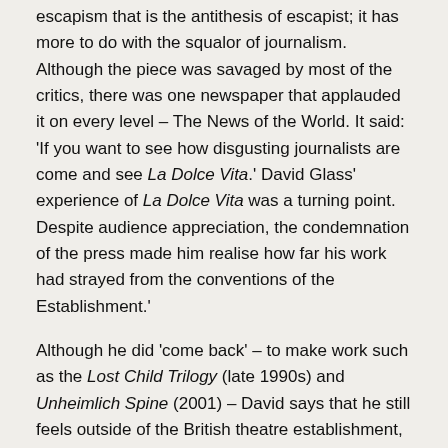escapism that is the antithesis of escapist; it has more to do with the squalor of journalism. Although the piece was savaged by most of the critics, there was one newspaper that applauded it on every level – The News of the World. It said: 'If you want to see how disgusting journalists are come and see La Dolce Vita.' David Glass' experience of La Dolce Vita was a turning point. Despite audience appreciation, the condemnation of the press made him realise how far his work had strayed from the conventions of the Establishment.'
Although he did 'come back' – to make work such as the Lost Child Trilogy (late 1990s) and Unheimlich Spine (2001) – David says that he still feels outside of the British theatre establishment, which is 'more about power than telling stories'. He says that his work has often been better received outside the UK, which perhaps set up a precedent for working elsewhere. We can note that at one point he worked with Peter Brook's Bouffes du Nord ensemble in Paris – Brook being another British theatre director who felt the need to move away.